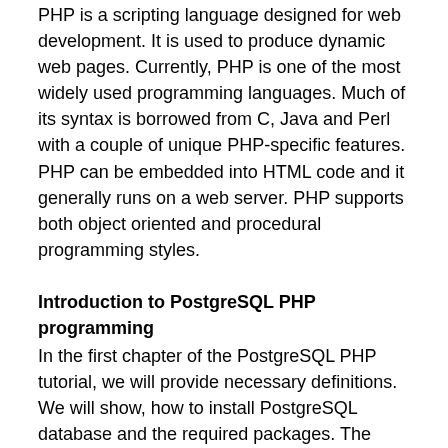PHP is a scripting language designed for web development. It is used to produce dynamic web pages. Currently, PHP is one of the most widely used programming languages. Much of its syntax is borrowed from C, Java and Perl with a couple of unique PHP-specific features. PHP can be embedded into HTML code and it generally runs on a web server. PHP supports both object oriented and procedural programming styles.
Introduction to PostgreSQL PHP programming
In the first chapter of the PostgreSQL PHP tutorial, we will provide necessary definitions. We will show, how to install PostgreSQL database and the required packages. The examples will be run on the command line using the PHP CLI.
In order to run the examples, we need to have PHP language (in the form of PHP CLI) and the PostgreSQL database installed. We also need the php5-psql package